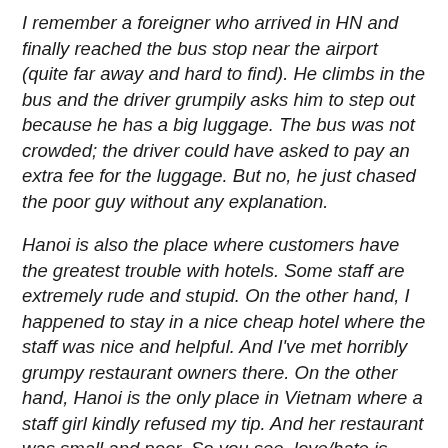I remember a foreigner who arrived in HN and finally reached the bus stop near the airport (quite far away and hard to find). He climbs in the bus and the driver grumpily asks him to step out because he has a big luggage. The bus was not crowded; the driver could have asked to pay an extra fee for the luggage. But no, he just chased the poor guy without any explanation.
Hanoi is also the place where customers have the greatest trouble with hotels. Some staff are extremely rude and stupid. On the other hand, I happened to stay in a nice cheap hotel where the staff was nice and helpful. And I've met horribly grumpy restaurant owners there. On the other hand, Hanoi is the only place in Vietnam where a staff girl kindly refused my tip. And her restaurant was small and poor. So you see, love/hate is what I felt there.